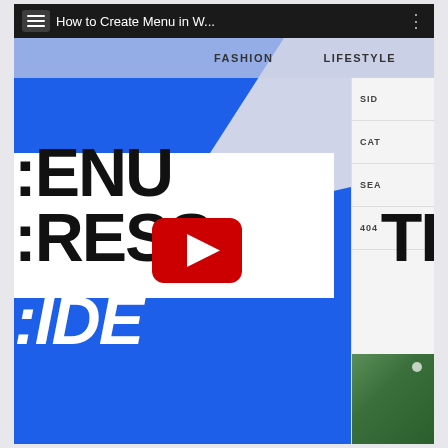[Figure (screenshot): A screenshot of a YouTube video titled 'How to Create Menu in W...' showing a WordPress or website tutorial page. The underlying website screenshot shows navigation items (FASHION, LIFESTYLE, PORT...) and large cropped bold text reading 'ENU', 'RESS' and 'TE', 'IDE' from a tutorial about creating menus in WordPress, with a YouTube play button overlaid in the center. A sidebar on the right shows items: SID, CAT, SEA, 404. Blue geometric diagonal shapes dominate the background.]